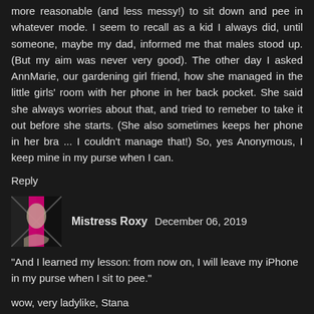more reasonable (and less messy!) to sit down and pee in whatever mode. I seem to recall as a kid I always did, until someone, maybe my dad, informed me that males stood up. (But my aim was never very good). The other day I asked AnnMarie, our gardening girl friend, how she managed in the little girls' room with her phone in her back pocket. She said she always worries about that, and tried to remeber to take it out before she starts. (She also sometimes keeps her phone in her bra ... I couldn't manage that!) So, yes Anonymous, I keep mine in my purse when I can.
Reply
Mistress Roxy  December 06, 2019
"And I learned my lesson: from now on, I will leave my iPhone in my purse when I sit to pee."
wow, very ladylike, Stana
Reply